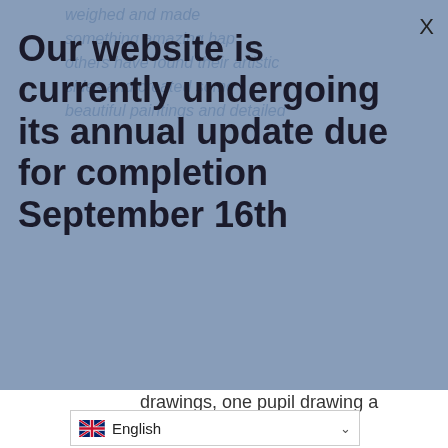weighed and made ... beautiful paintings and detailed drawings, one pupil drawing a range and quantity of pictures not seen before in school. Other children have worked hard on their communication, initiating games with less familiar adults and having longer and more conversations. The
Our website is currently undergoing its annual update due for completion September 16th
[Figure (other): Accessibility icon (wheelchair symbol) in blue square, positioned on right side]
English (language selector dropdown)